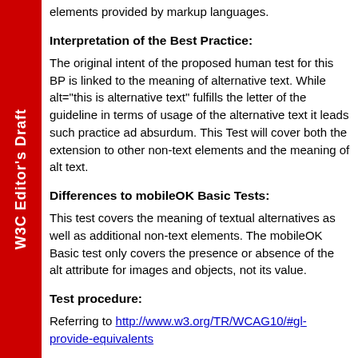elements provided by markup languages.
Interpretation of the Best Practice:
The original intent of the proposed human test for this BP is linked to the meaning of alternative text. While alt="this is alternative text" fulfills the letter of the guideline in terms of usage of the alternative text it leads such practice ad absurdum. This Test will cover both the extension to other non-text elements and the meaning of alt text.
Differences to mobileOK Basic Tests:
This test covers the meaning of textual alternatives as well as additional non-text elements. The mobileOK Basic test only covers the presence or absence of the alt attribute for images and objects, not its value.
Test procedure:
Referring to http://www.w3.org/TR/WCAG10/#gl-provide-equivalents